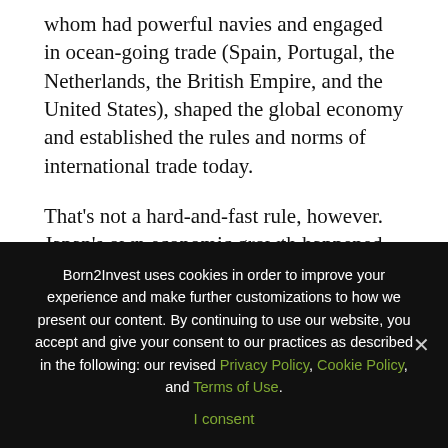whom had powerful navies and engaged in ocean-going trade (Spain, Portugal, the Netherlands, the British Empire, and the United States), shaped the global economy and established the rules and norms of international trade today.
That's not a hard-and-fast rule, however. Japan's own economic growth happened in the post-World War II era as well. China, as pointed out in a Crunch article, was an isolated dynastic monarchy for thousands of years, until it lost two Opium Wars against the British. With that, the old China was destroyed and a new China emerged to modernize itself, embrace communism, and then adapt
Born2Invest uses cookies in order to improve your experience and make further customizations to how we present our content. By continuing to use our website, you accept and give your consent to our practices as described in the following: our revised Privacy Policy, Cookie Policy, and Terms of Use.
I consent